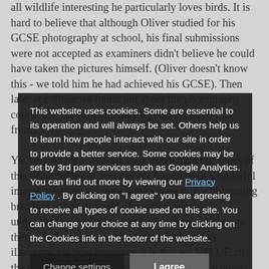all wildlife interesting he particularly loves birds. It is hard to believe that although Oliver studied for his GCSE photography at school, his final submissions were not accepted as examiners didn't believe he could have taken the pictures himself. (Oliver doesn't know this - we told him he had achieved his GCSE). Then later at college we found out about the photography course and his (low) literacy levels prevented him from...
Yet very on his Facebook page and within the pages of this beautiful book, you can see hundreds of wonderful images taken by the very same young man - illustrating breathtaking quality and illustrating genuine understanding of framing and composition. Oliver is the perfect example of diversity at its best and illustrates his how important it is that we VALUE all the members of our population, and spread the news that difference can be something to be enjoyed and treasured.
Oliver lives with his parents Anna, his stepfather Mike who is a hero to Oliver in every sense of the word, (Oliver's biological father left him when he was very young) and best friends Jackie, Neil and family, along
This website uses cookies. Some are essential to its operation and will always be set. Others help us to learn how people interact with our site in order to provide a better service. Some cookies may be set by 3rd party services such as Google Analytics. You can find out more by viewing our Privacy Policy . By clicking on "I agree" you are agreeing to receive all types of cookie used on this site. You can change your choice at any time by clicking on the Cookies link in the footer of the website.